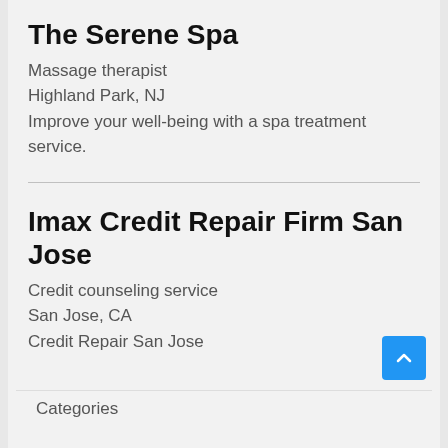The Serene Spa
Massage therapist
Highland Park, NJ
Improve your well-being with a spa treatment service.
Imax Credit Repair Firm San Jose
Credit counseling service
San Jose, CA
Credit Repair San Jose
Categories